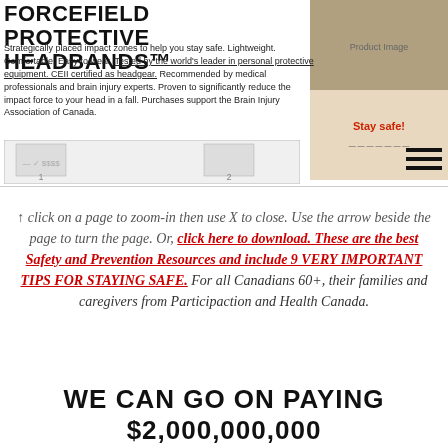FORCEFIELD PROTECTIVE HEADBANDS™
Strategically placed impact zones to help you stay safe. Lightweight. Comfortable. Easy to wear. Tested by the world's leader in personal protective equipment. CEII certified as headgear. Recommended by medical professionals and brain injury experts. Proven to significantly reduce the impact force to your head in a fall. Purchases support the Brain Injury Association of Canada.
[Figure (screenshot): Slideshow navigation with page thumbnails showing product pages numbered 1 and 2, and a hamburger menu icon on the right]
↑ click on a page to zoom-in then use X to close. Use the arrow beside the page to turn the page. Or, click here to download. These are the best Safety and Prevention Resources and include 9 VERY IMPORTANT TIPS FOR STAYING SAFE. For all Canadians 60+, their families and caregivers from Participaction and Health Canada.
WE CAN GO ON PAYING $2,000,000,000